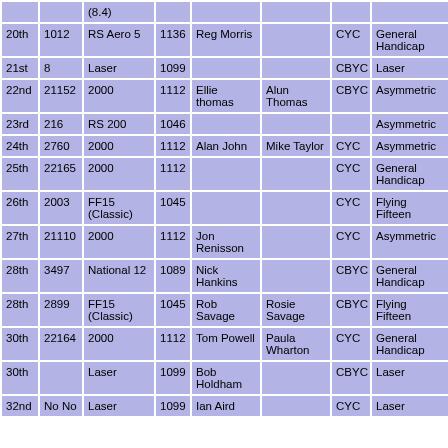| Place | Sail No. | Class | PN | Helm | Crew | Club | Fleet |
| --- | --- | --- | --- | --- | --- | --- | --- |
|  |  | (8.4) |  |  |  |  |  |
| 20th | 1012 | RS Aero 5 | 1136 | Reg Morris |  | CYC | General Handicap |
| 21st | 8 | Laser | 1099 |  |  | CBYC | Laser |
| 22nd | 21152 | 2000 | 1112 | Ellie thomas | Alun Thomas | CBYC | Asymmetric |
| 23rd | 216 | RS 200 | 1046 |  |  |  | Asymmetric |
| 24th | 2760 | 2000 | 1112 | Alan John | Mike Taylor | CYC | Asymmetric |
| 25th | 22165 | 2000 | 1112 |  |  | CYC | General Handicap |
| 26th | 2003 | FF15 (Classic) | 1045 |  |  | CYC | Flying Fifteen |
| 27th | 21110 | 2000 | 1112 | Jon Renisson |  | CYC | Asymmetric |
| 28th | 3497 | National 12 | 1089 | Nick Hankins |  | CBYC | General Handicap |
| 28th | 2899 | FF15 (Classic) | 1045 | Rob Savage | Rosie Savage | CBYC | Flying Fifteen |
| 30th | 22164 | 2000 | 1112 | Tom Powell | Paula Wharton | CYC | General Handicap |
| 30th |  | Laser | 1099 | Bob Holdham |  | CBYC | Laser |
| 32nd | No No | Laser | 1099 | Ian Aird |  | CYC | Laser |